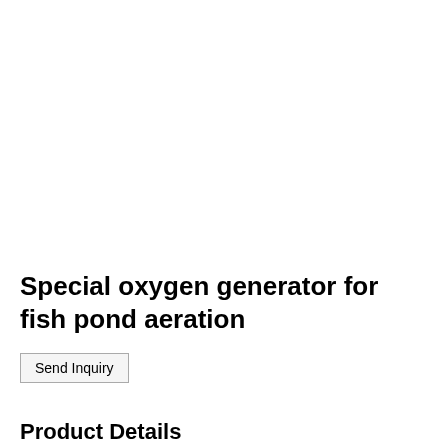Special oxygen generator for fish pond aeration
Send Inquiry
Product Details
Industrial oxygen generators, equipment for producing oxygen,